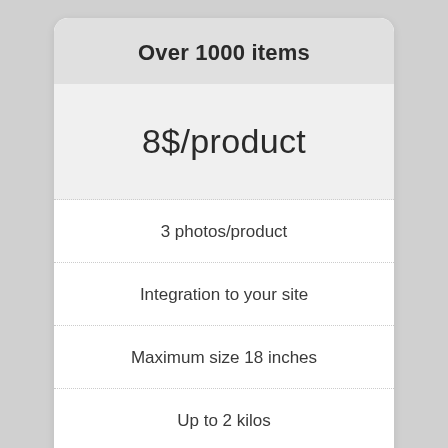Over 1000 items
8$/product
3 photos/product
Integration to your site
Maximum size 18 inches
Up to 2 kilos